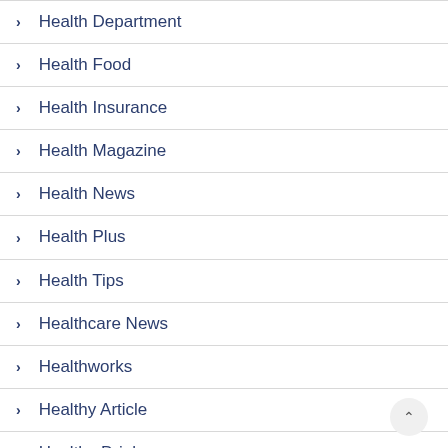Health Department
Health Food
Health Insurance
Health Magazine
Health News
Health Plus
Health Tips
Healthcare News
Healthworks
Healthy Article
Healthy Drinks
Healthy Food